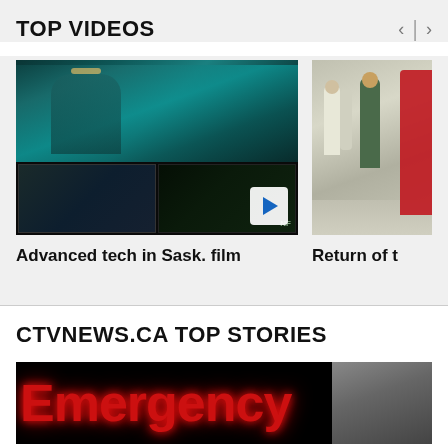TOP VIDEOS
[Figure (screenshot): Video thumbnail showing advanced CGI film footage from Saskatchewan, with teal/dark underwater scene above and editing software panels below, with blue play button]
Advanced tech in Sask. film
[Figure (photo): Partially visible video thumbnail showing people walking in a large hall, with red costume visible on right edge]
Return of t
CTVNEWS.CA TOP STORIES
[Figure (photo): Emergency sign in large red LED letters on black background, with partial view of another scene on right]